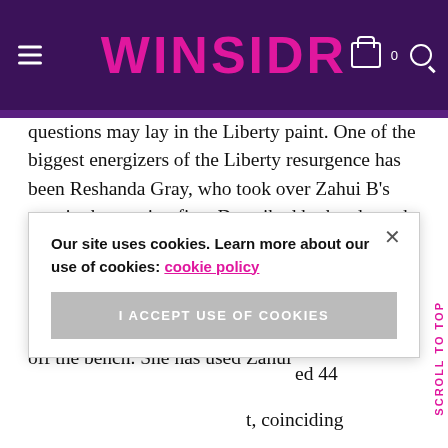WINSIDR
questions may lay in the Liberty paint. One of the biggest energizers of the Liberty resurgence has been Reshanda Gray, who took over Zahui B’s spot in the starting five. Described by head coach Katie Smith as the “last” woman to make the roster, Gray hadn’t partaken in a regular season game since 2016. She went on to reach double-figures in scoring in each of her first three games off the bench. She has used Zahui ed 44 t, coinciding Han Xu, the
Our site uses cookies. Learn more about our use of cookies: cookie policy
I ACCEPT USE OF COOKIES